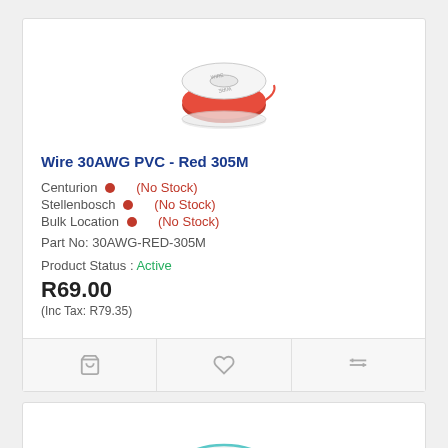[Figure (photo): Red wire spool, 30AWG PVC, 305M]
Wire 30AWG PVC - Red 305M
Centurion • (No Stock)
Stellenbosch • (No Stock)
Bulk Location • (No Stock)
Part No: 30AWG-RED-305M
Product Status : Active
R69.00
(Inc Tax: R79.35)
[Figure (photo): Yellow wire spool, 30AWG PVC, 305M]
Wire 30AWG PVC - Yellow 305M